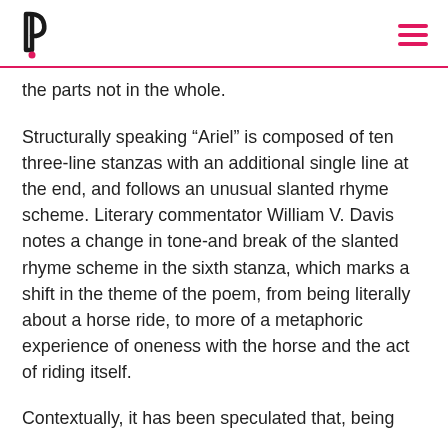Prezi logo and navigation
the parts not in the whole.
Structurally speaking “Ariel” is composed of ten three-line stanzas with an additional single line at the end, and follows an unusual slanted rhyme scheme. Literary commentator William V. Davis notes a change in tone-and break of the slanted rhyme scheme in the sixth stanza, which marks a shift in the theme of the poem, from being literally about a horse ride, to more of a metaphoric experience of oneness with the horse and the act of riding itself.
Contextually, it has been speculated that, being